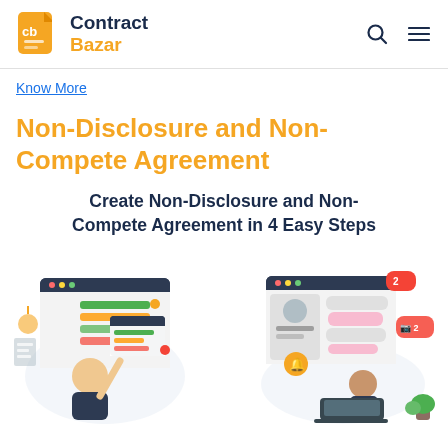[Figure (logo): Contract Bazar logo: orange document icon with 'cb' text, beside bold 'Contract Bazar' brand name in dark navy]
Know More
Non-Disclosure and Non-Compete Agreement
Create Non-Disclosure and Non-Compete Agreement in 4 Easy Steps
[Figure (illustration): Two side-by-side illustrations: left shows a person filling out a digital form/checklist on a browser window with colorful UI elements; right shows a person at a laptop with chat/messaging UI bubbles on a browser window.]